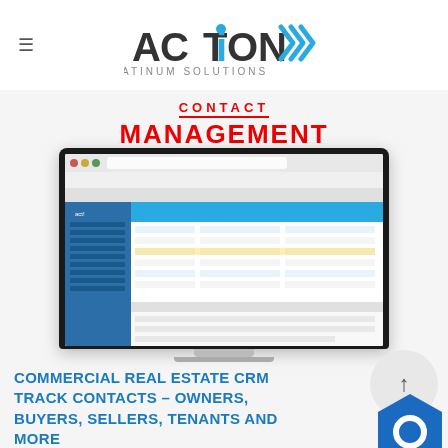[Figure (logo): ACTION Platinum Solutions logo — bold dark grey and red text with blue 'i' dot and blue/red chevron arrows to the right, subtitle 'PLATINUM SOLUTIONS' in grey]
CONTACT MANAGEMENT
[Figure (screenshot): Screenshot of ACT! CRM software showing a contact record with fields for company, name, phone, address, and activity history in a tabbed interface]
COMMERCIAL REAL ESTATE CRM TRACK CONTACTS – OWNERS, BUYERS, SELLERS, TENANTS AND MORE